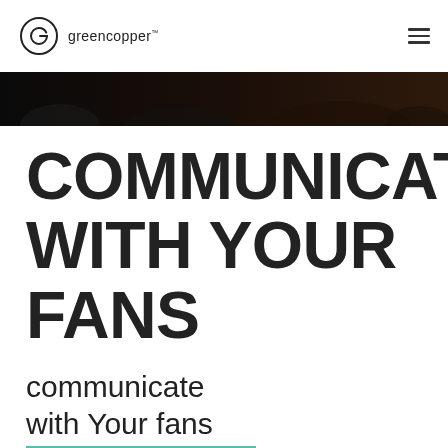greencopper
[Figure (photo): Dark photographic hero image strip showing a crowd or concert scene]
COMMUNICATE WITH YOUR FANS
communicate with Your fans